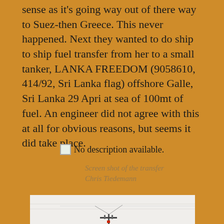sense as it's going way out of there way to Suez-then Greece. This never happened. Next they wanted to do ship to ship fuel transfer from her to a small tanker, LANKA FREEDOM (9058610, 414/92, Sri Lanka flag) offshore Galle, Sri Lanka 29 Apri at sea of 100mt of fuel. An engineer did not agree with this at all for obvious reasons, but seems it did take place.
[Figure (screenshot): Placeholder image with text 'No description available.']
Screen shot of the transfer
Chris Tiedemann
[Figure (photo): Photo of a ship transfer at sea, showing mast/equipment against a pale sky]